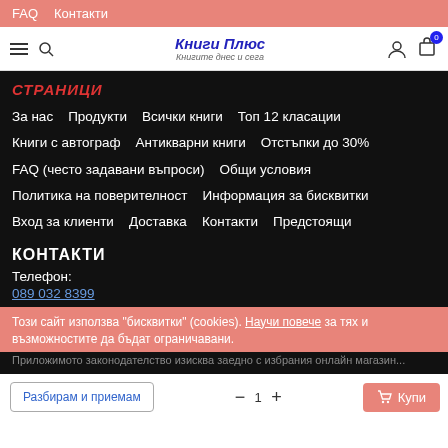FAQ  Контакти
[Figure (screenshot): Website navigation bar with hamburger menu, search icon, brand logo 'Книги Плюс / Книгите днес и сега', user icon, and cart icon with badge 0]
СТРАНИЦИ
За нас   Продукти   Всички книги   Топ 12 класации
Книги с автограф   Антикварни книги   Отстъпки до 30%
FAQ (често задавани въпроси)   Общи условия
Политика на поверителност   Информация за бисквитки
Вход за клиенти   Доставка   Контакти   Предстоящи
КОНТАКТИ
Телефон:
089 032 8399
Този сайт използва "бисквитки" (cookies). Научи повече за тях и възможностите да бъдат ограничавани.
Разбирам и приемам